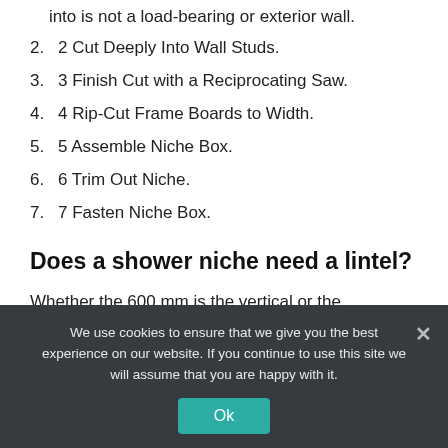into is not a load-bearing or exterior wall.
2. 2 Cut Deeply Into Wall Studs.
3. 3 Finish Cut with a Reciprocating Saw.
4. 4 Rip-Cut Frame Boards to Width.
5. 5 Assemble Niche Box.
6. 6 Trim Out Niche.
7. 7 Fasten Niche Box.
Does a shower niche need a lintel?
Whether the 600 mm is the vertical or the horizontal it does not matter the brickwork above will need to be
We use cookies to ensure that we give you the best experience on our website. If you continue to use this site we will assume that you are happy with it.